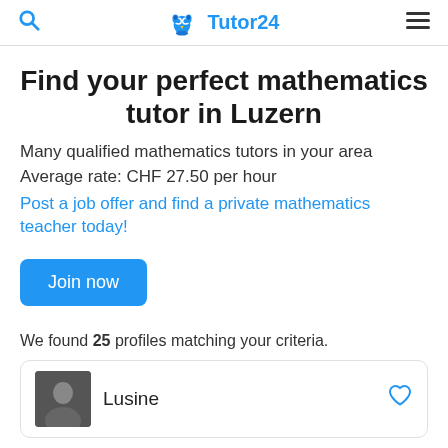Tutor24
Find your perfect mathematics tutor in Luzern
Many qualified mathematics tutors in your area
Average rate: CHF 27.50 per hour
Post a job offer and find a private mathematics teacher today!
Join now
We found 25 profiles matching your criteria.
Lusine